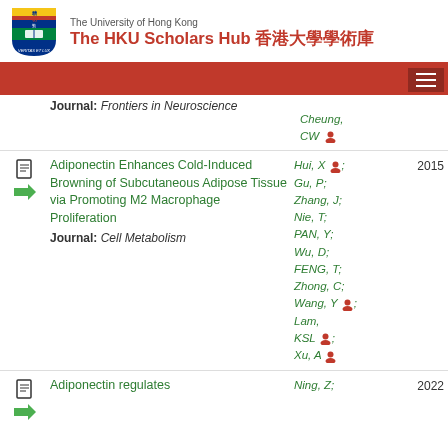The University of Hong Kong — The HKU Scholars Hub 香港大學學術庫
Journal: Frontiers in Neuroscience | Cheung, CW [person icon]
Adiponectin Enhances Cold-Induced Browning of Subcutaneous Adipose Tissue via Promoting M2 Macrophage Proliferation | Journal: Cell Metabolism | Hui, X [person icon]; Gu, P; Zhang, J; Nie, T; PAN, Y; Wu, D; FENG, T; Zhong, C; Wang, Y [person icon]; Lam, KSL [person icon]; Xu, A [person icon] | 2015
Adiponectin regulates | Ning, Z; | 2022